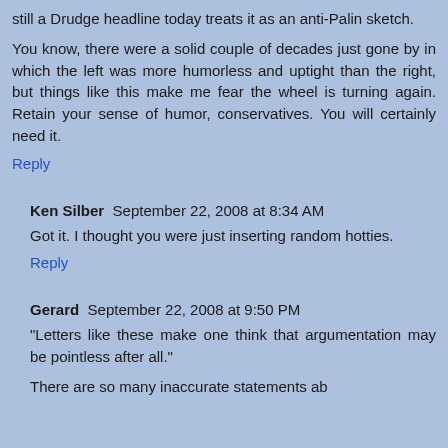still a Drudge headline today treats it as an anti-Palin sketch.
You know, there were a solid couple of decades just gone by in which the left was more humorless and uptight than the right, but things like this make me fear the wheel is turning again. Retain your sense of humor, conservatives. You will certainly need it.
Reply
Ken Silber  September 22, 2008 at 8:34 AM
Got it. I thought you were just inserting random hotties.
Reply
Gerard  September 22, 2008 at 9:50 PM
"Letters like these make one think that argumentation may be pointless after all."
There are so many inaccurate statements ab...